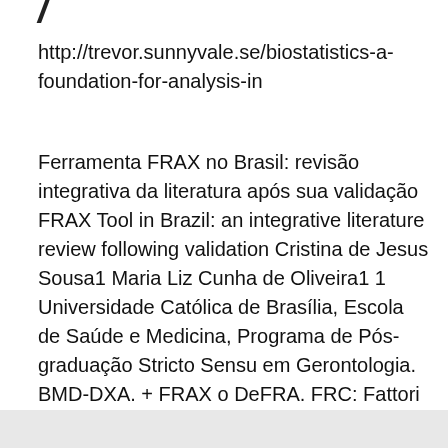http://trevor.sunnyvale.se/biostatistics-a-foundation-for-analysis-in
Ferramenta FRAX no Brasil: revisão integrativa da literatura após sua validação FRAX Tool in Brazil: an integrative literature review following validation Cristina de Jesus Sousa1 Maria Liz Cunha de Oliveira1 1 Universidade Católica de Brasília, Escola de Saúde e Medicina, Programa de Pós-graduação Stricto Sensu em Gerontologia. BMD-DXA. + FRAX o DeFRA. FRC: Fattori di rischio clinici per fx da fragilità. FRAX: eventuale terapia e/o ulteriori accertamenti. BMD (g/cm2). T-Score.